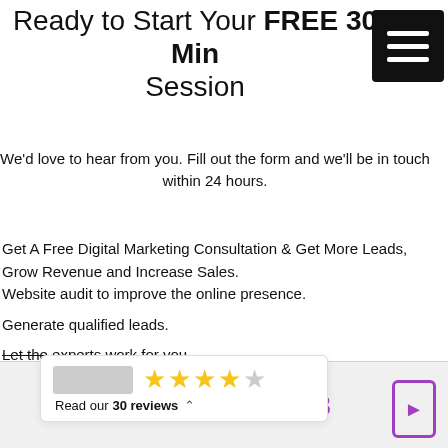Ready to Start Your FREE 30 Min Session
We'd love to hear from you. Fill out the form and we'll be in touch within 24 hours.
Get A Free Digital Marketing Consultation & Get More Leads, Grow Revenue and Increase Sales.
Website audit to improve the online presence.
Generate qualified leads.
Let the experts work for you.
Get ... online.
Increase sales and grow revenue.
[Figure (other): Reviews widget showing 4 yellow stars out of 5, a grey logo placeholder, and text 'Read our 30 reviews' with a caret arrow]
1300 621 683